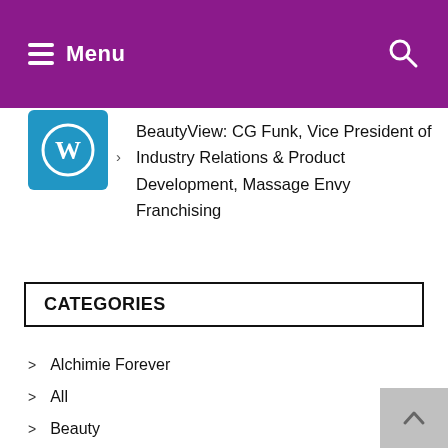Menu
BeautyView: CG Funk, Vice President of Industry Relations & Product Development, Massage Envy Franchising
CATEGORIES
Alchimie Forever
All
Beauty
Beautyviews
Business